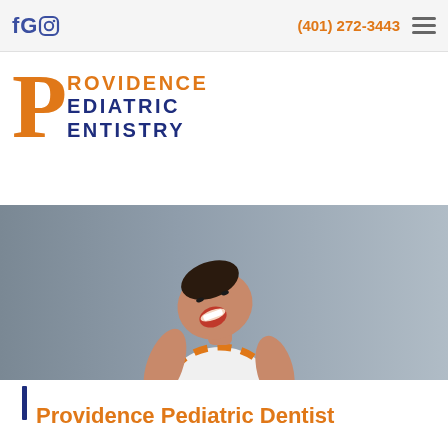fGO  (401) 272-3443
PROVIDENCE PEDIATRIC DENTISTRY
[Figure (photo): A smiling child with head tilted back, wearing a white and orange striped shirt, photographed against a gray background. Used as hero banner image for Providence Pediatric Dentistry website.]
Providence Pediatric Dentist